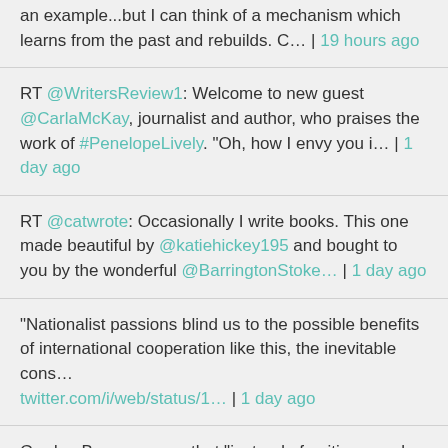an example...but I can think of a mechanism which learns from the past and rebuilds. C… | 19 hours ago
RT @WritersReview1: Welcome to new guest @CarlaMcKay, journalist and author, who praises the work of #PenelopeLively. "Oh, how I envy you i… | 1 day ago
RT @catwrote: Occasionally I write books. This one made beautiful by @katiehickey195 and bought to you by the wonderful @BarringtonStoke… | 1 day ago
"Nationalist passions blind us to the possible benefits of international cooperation like this, the inevitable cons… twitter.com/i/web/status/1… | 1 day ago
Gordon Brown argues that "instead of uniting people in common cause, the 'my country first & only' zealots subdivid… twitter.com/i/web/status/1… | 1 day ago
Rosemary Sutcliff wrote of a world of competing empires & bett...